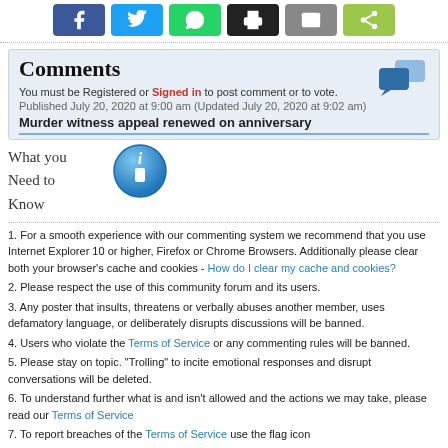[Figure (other): Social share buttons: Facebook, Twitter, WhatsApp, Print, Email, Share]
Comments
You must be Registered or Signed in to post comment or to vote.
Published July 20, 2020 at 9:00 am (Updated July 20, 2020 at 9:02 am)
Murder witness appeal renewed on anniversary
What you Need to Know
1. For a smooth experience with our commenting system we recommend that you use Internet Explorer 10 or higher, Firefox or Chrome Browsers. Additionally please clear both your browser's cache and cookies - How do I clear my cache and cookies?
2. Please respect the use of this community forum and its users.
3. Any poster that insults, threatens or verbally abuses another member, uses defamatory language, or deliberately disrupts discussions will be banned.
4. Users who violate the Terms of Service or any commenting rules will be banned.
5. Please stay on topic. "Trolling" to incite emotional responses and disrupt conversations will be deleted.
6. To understand further what is and isn't allowed and the actions we may take, please read our Terms of Service
7. To report breaches of the Terms of Service use the flag icon